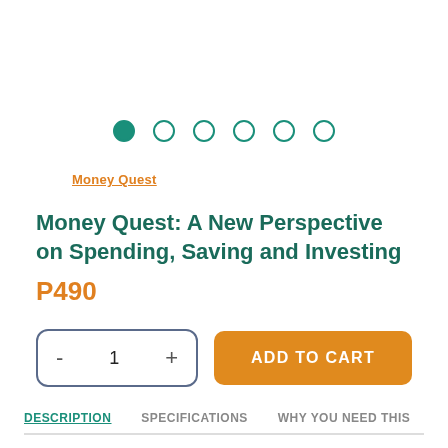[Figure (other): Carousel dot navigation indicator with 6 dots, first dot filled teal, rest are empty circles]
Money Quest
Money Quest: A New Perspective on Spending, Saving and Investing
P490
- 1 + ADD TO CART
DESCRIPTION   SPECIFICATIONS   WHY YOU NEED THIS